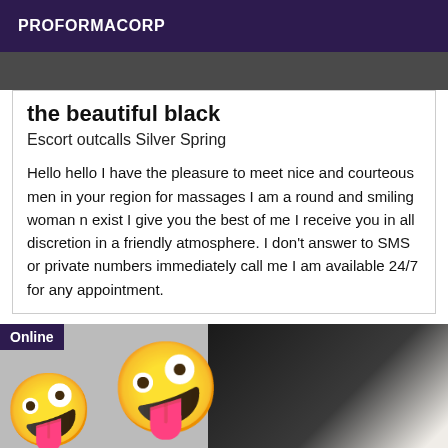PROFORMACORP
[Figure (photo): Partially visible photo at top of page, dark background]
the beautiful black
Escort outcalls Silver Spring
Hello hello I have the pleasure to meet nice and courteous men in your region for massages I am a round and smiling woman n exist I give you the best of me I receive you in all discretion in a friendly atmosphere. I don't answer to SMS or private numbers immediately call me I am available 24/7 for any appointment.
[Figure (photo): Photo with two emoji faces covering subjects, person in black outfit, Online badge in top left corner]